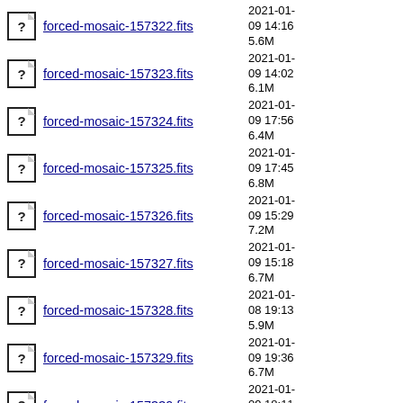forced-mosaic-157322.fits  2021-01-09 14:16  5.6M
forced-mosaic-157323.fits  2021-01-09 14:02  6.1M
forced-mosaic-157324.fits  2021-01-09 17:56  6.4M
forced-mosaic-157325.fits  2021-01-09 17:45  6.8M
forced-mosaic-157326.fits  2021-01-09 15:29  7.2M
forced-mosaic-157327.fits  2021-01-09 15:18  6.7M
forced-mosaic-157328.fits  2021-01-08 19:13  5.9M
forced-mosaic-157329.fits  2021-01-09 19:36  6.7M
forced-mosaic-157330.fits  2021-01-09 18:11  6.1M
forced-mosaic-157331.fits  2021-01-09 18:00  6.2M
forced-mosaic-157332.fits  2021-01-09 13:41  6.4M
forced-mosaic-157333.fits  2021-01-...